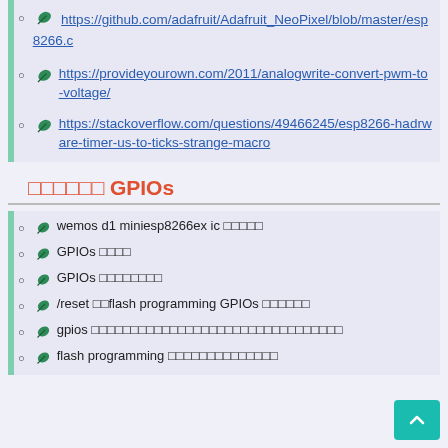https://github.com/adafruit/Adafruit_NeoPixel/blob/master/esp8266.c
https://provideyourown.com/2011/analogwrite-convert-pwm-to-voltage/
https://stackoverflow.com/questions/49466245/esp8266-hadrware-timer-us-to-ticks-strange-macro
□□□□□□ GPIOs
wemos d1 miniesp8266ex ic □□□□□
GPIOs □□□□
GPIOs □□□□□□□□
/reset □□flash programming  GPIOs □□□□□□
gpios □□□□□□□□□□□□□□□□□□□□□□□□□□□□□□□□
flash programming □□□□□□□□□□□□□□